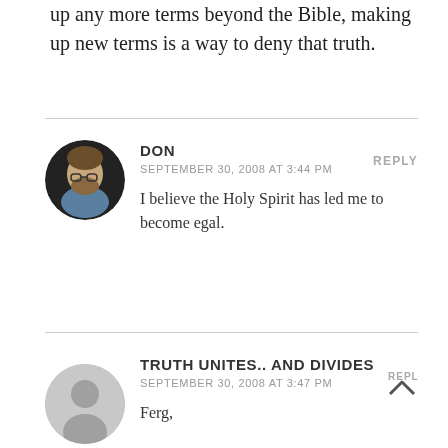up any more terms beyond the Bible, making up new terms is a way to deny that truth.
DON
SEPTEMBER 30, 2008 AT 3:44 PM
I believe the Holy Spirit has led me to become egal.
TRUTH UNITES.. AND DIVIDES
SEPTEMBER 30, 2008 AT 3:47 PM
Ferg,